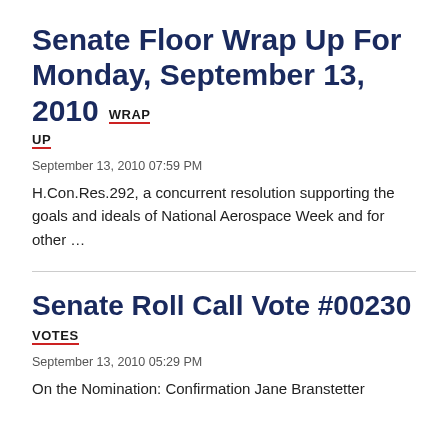Senate Floor Wrap Up For Monday, September 13, 2010
WRAP UP
September 13, 2010 07:59 PM
H.Con.Res.292, a concurrent resolution supporting the goals and ideals of National Aerospace Week and for other …
Senate Roll Call Vote #00230
VOTES
September 13, 2010 05:29 PM
On the Nomination: Confirmation Jane Branstetter